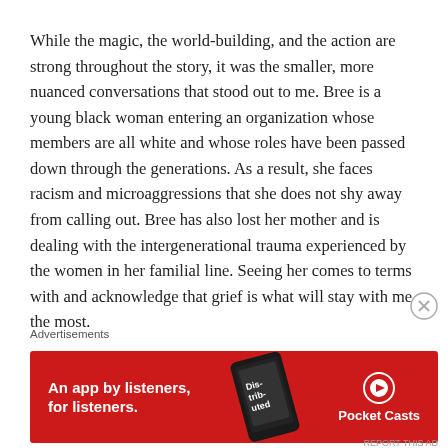While the magic, the world-building, and the action are strong throughout the story, it was the smaller, more nuanced conversations that stood out to me. Bree is a young black woman entering an organization whose members are all white and whose roles have been passed down through the generations. As a result, she faces racism and microaggressions that she does not shy away from calling out. Bree has also lost her mother and is dealing with the intergenerational trauma experienced by the women in her familial line. Seeing her comes to terms with and acknowledge that grief is what will stay with me the most.
There are hints of a love triangle that may play out in the
Advertisements
[Figure (other): Red banner advertisement for Pocket Casts app. Text reads: 'An app by listeners, for listeners.' with a smartphone image showing the app and Pocket Casts logo on the right.]